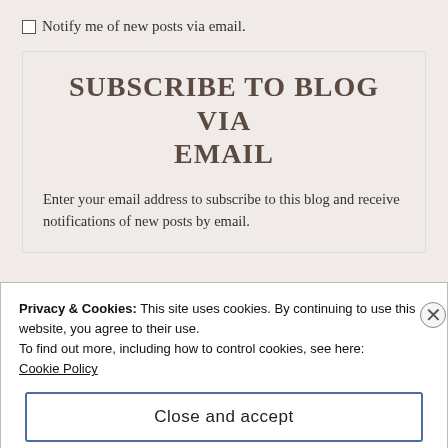Notify me of new posts via email.
SUBSCRIBE TO BLOG VIA EMAIL
Enter your email address to subscribe to this blog and receive notifications of new posts by email.
Privacy & Cookies: This site uses cookies. By continuing to use this website, you agree to their use.
To find out more, including how to control cookies, see here: Cookie Policy
Close and accept